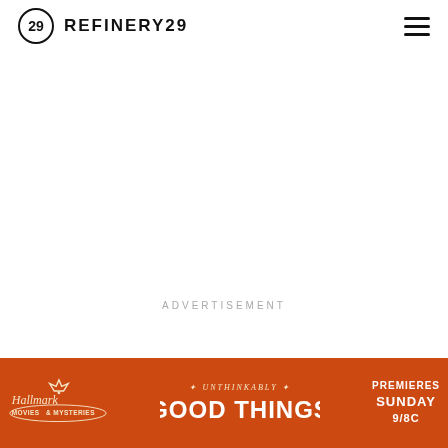REFINERY29
ADVERTISEMENT
[Figure (other): Hallmark Movies & Mysteries advertisement banner: orange background with Hallmark Movies & Mysteries logo on the left, 'Unthinkably Good Things' text in the center, and 'Premieres Sunday 9/8c' on the right]